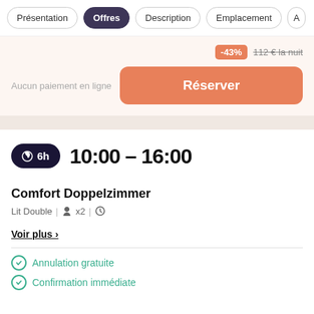Présentation | Offres | Description | Emplacement | A
-43%  112 € la nuit
Aucun paiement en ligne
Réserver
6h  10:00 - 16:00
Comfort Doppelzimmer
Lit Double | x2 |
Voir plus >
Annulation gratuite
Confirmation immédiate